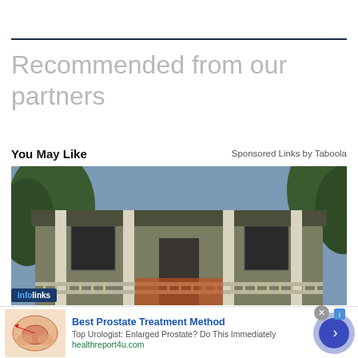Recommended from our partners
You May Like
Sponsored Links by Taboola
[Figure (photo): Exterior photo of a house with a front porch, columns, railing, and trees in background. Shows two-story structure with olive/tan siding.]
infolinks
[Figure (photo): Medical illustration of prostate anatomy used in advertisement thumbnail]
Best Prostate Treatment Method
Top Urologist: Enlarged Prostate? Do This Immediately
healthreport4u.com